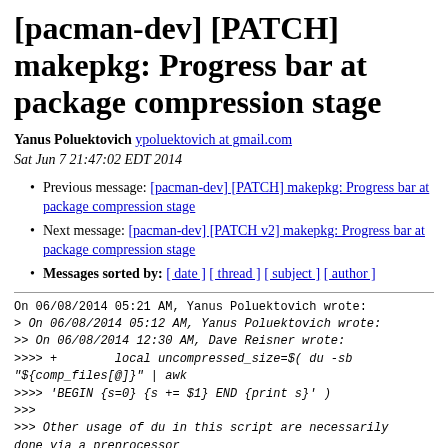[pacman-dev] [PATCH] makepkg: Progress bar at package compression stage
Yanus Poluektovich ypoluektovich at gmail.com
Sat Jun 7 21:47:02 EDT 2014
Previous message: [pacman-dev] [PATCH] makepkg: Progress bar at package compression stage
Next message: [pacman-dev] [PATCH v2] makepkg: Progress bar at package compression stage
Messages sorted by: [ date ] [ thread ] [ subject ] [ author ]
On 06/08/2014 05:21 AM, Yanus Poluektovich wrote:
> On 06/08/2014 05:12 AM, Yanus Poluektovich wrote:
>> On 06/08/2014 12:30 AM, Dave Reisner wrote:
>>>> +        local uncompressed_size=$( du -sb "${comp_files[@]}" | awk
>>>> 'BEGIN {s=0} {s += $1} END {print s}' )
>>>
>>> Other usage of du in this script are necessarily done via a preprocessor